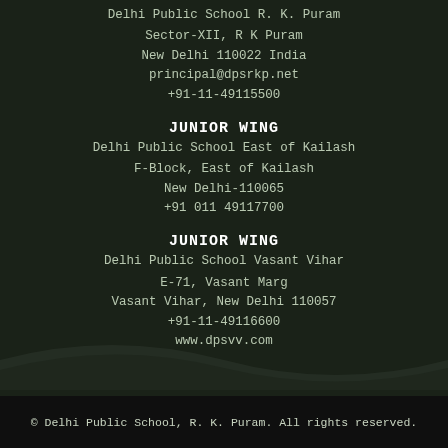Delhi Public School R. K. Puram
Sector-XII, R K Puram
New Delhi 110022 India
principal@dpsrkp.net
+91-11-49115500
JUNIOR WING
Delhi Public School East of Kailash
F-Block, East of Kailash
New Delhi-110065
+91 011 49117700
JUNIOR WING
Delhi Public School Vasant Vihar
E-71, Vasant Marg
Vasant Vihar, New Delhi 110057
+91-11-49116600
www.dpsvv.com
© Delhi Public School, R. K. Puram. All rights reserved.